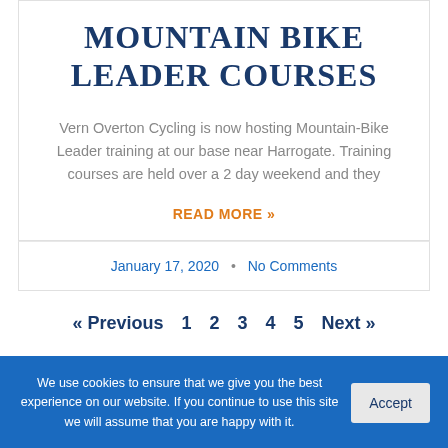MOUNTAIN BIKE LEADER COURSES
Vern Overton Cycling is now hosting Mountain-Bike Leader training at our base near Harrogate. Training courses are held over a 2 day weekend and they
READ MORE »
January 17, 2020 • No Comments
« Previous  1  2  3  4  5  Next »
We use cookies to ensure that we give you the best experience on our website. If you continue to use this site we will assume that you are happy with it.